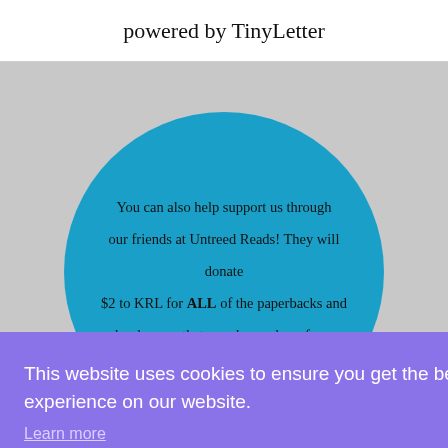powered by TinyLetter
[Figure (illustration): Blue circle on grey background containing text about supporting KRL through Untreed Reads paperback and hardcover purchases]
You can also help support us through our friends at Untreed Reads! They will donate $2 to KRL for ALL of the paperbacks and hardcovers that people purchase from
This website uses cookies to ensure you get the best experience on our website. Learn more Got it